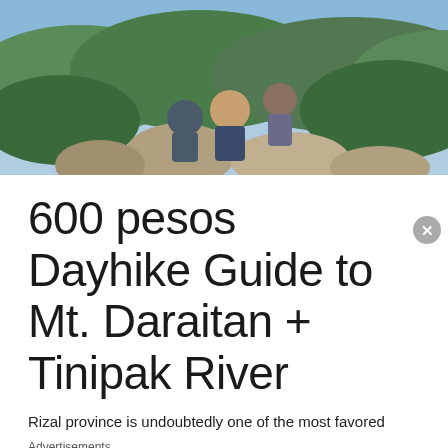[Figure (photo): Three young men posing on rocky mountain outcrop with lush green forested mountains in the background, blue sky visible.]
600 pesos Dayhike Guide to Mt. Daraitan + Tinipak River
Rizal province is undoubtedly one of the most favored
Advertisements
[Figure (screenshot): DuckDuckGo advertisement banner: orange left side reads 'Search, browse, and email with more privacy. All in One Free App', dark right side shows DuckDuckGo duck logo and brand name.]